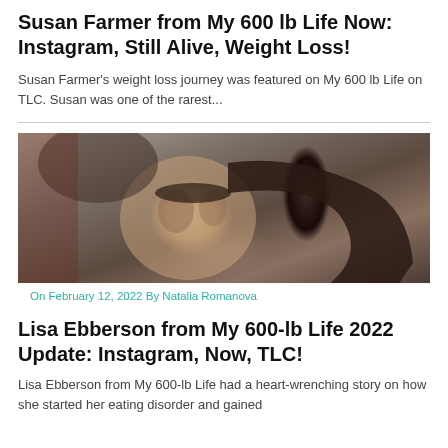Susan Farmer from My 600 lb Life Now: Instagram, Still Alive, Weight Loss!
Susan Farmer's weight loss journey was featured on My 600 lb Life on TLC. Susan was one of the rarest...
[Figure (photo): Photo of a woman lying down, dark hair, looking at camera — Lisa Ebberson from My 600-lb Life]
On February 12, 2022 By Natalia Romanova
Lisa Ebberson from My 600-lb Life 2022 Update: Instagram, Now, TLC!
Lisa Ebberson from My 600-lb Life had a heart-wrenching story on how she started her eating disorder and gained